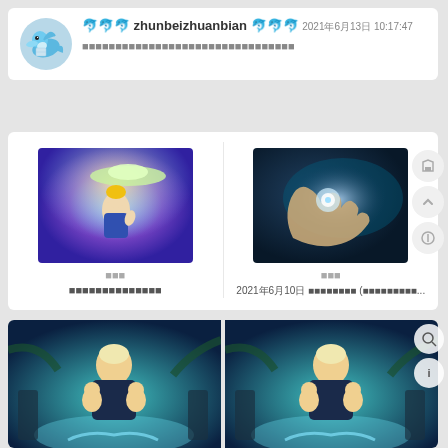[Figure (screenshot): Social media post card with dolphin avatar, username zhunbeizhuanbian, date 2021年6月13日 10:17:47, and Chinese text below]
🐬🐬🐬 zhunbeizhuanbian 🐬🐬🐬 2021年6月13日 10:17:47
■■■■■■■■■■■■■■■■■■■■■■■■■■■■■■
[Figure (screenshot): Two thumbnail images side by side: left shows a UFO and angelic figure, right shows hands holding a glowing object]
■■■
■■■■■■■■■■■■■■
■■■
2021年6月10日 ■■■■■■■■ (■■■■■■■■■...
[Figure (photo): Two side-by-side images of a man with blonde hair holding two babies against a fantasy waterfall background]